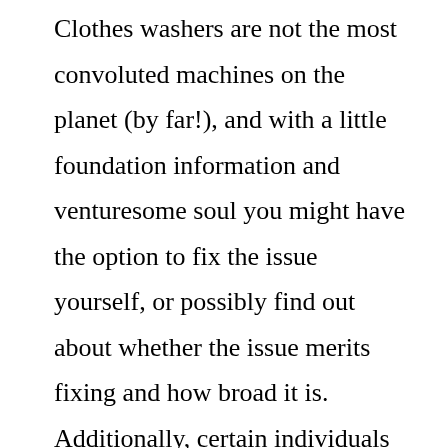Clothes washers are not the most convoluted machines on the planet (by far!), and with a little foundation information and venturesome soul you might have the option to fix the issue yourself, or possibly find out about whether the issue merits fixing and how broad it is. Additionally, certain individuals even conclude a clothes washer ought to be trashed when truth be told it might have long periods of good execution left on it and just necessities a minor fix. The contrary circumstance can likewise happen –